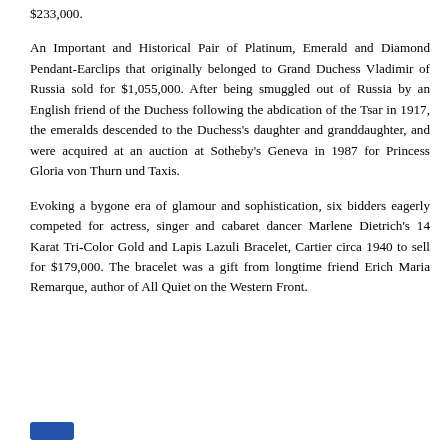$233,000.
An Important and Historical Pair of Platinum, Emerald and Diamond Pendant-Earclips that originally belonged to Grand Duchess Vladimir of Russia sold for $1,055,000. After being smuggled out of Russia by an English friend of the Duchess following the abdication of the Tsar in 1917, the emeralds descended to the Duchess's daughter and granddaughter, and were acquired at an auction at Sotheby's Geneva in 1987 for Princess Gloria von Thurn und Taxis.
Evoking a bygone era of glamour and sophistication, six bidders eagerly competed for actress, singer and cabaret dancer Marlene Dietrich's 14 Karat Tri-Color Gold and Lapis Lazuli Bracelet, Cartier circa 1940 to sell for $179,000. The bracelet was a gift from longtime friend Erich Maria Remarque, author of All Quiet on the Western Front.